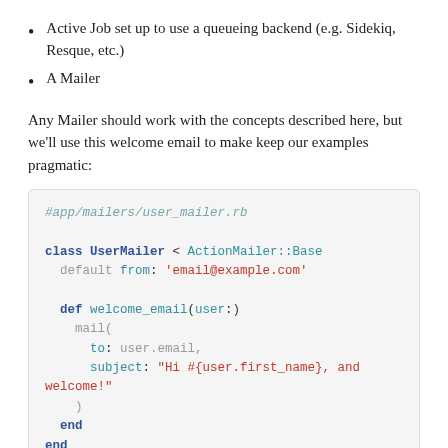Active Job set up to use a queueing backend (e.g. Sidekiq, Resque, etc.)
A Mailer
Any Mailer should work with the concepts described here, but we'll use this welcome email to make keep our examples pragmatic:
[Figure (screenshot): Ruby code block showing #app/mailers/user_mailer.rb with class UserMailer < ActionMailer::Base, default from: 'email@example.com', def welcome_email(user:), mail( to: user.email, subject: "Hi #{user.first_name}, and welcome!" ), end, end]